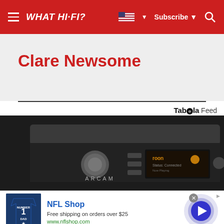WHAT HI-FI?
Clare Newsome
Taboola Feed
[Figure (photo): Arcam hi-fi amplifier/streamer unit, black, with ROON display on front panel]
[Figure (photo): NFL Shop advertisement showing Dallas Cowboys jersey, with text: NFL Shop, Free shipping on orders over $25, www.nflshop.com]